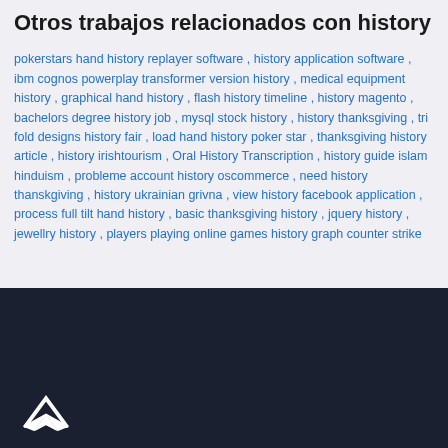Otros trabajos relacionados con history
pokerstars hand history replayer software , history application software , ibm cognos powerplay transformer version history , medical equipment history , graphical hand history , flash history timeline , history magento , bachelors degree history job , mysql stock history , history thanksgiving , tri fold designs history fair , load hand history poker star , thanksgiving history article , history irishtourism , Oral History Transcription , history guide islam hinduism , probleme account history oscommerce , need history thanskgiving , history ukrainian grivna , view history facebook application , process full tilt hand history , basic thanksgiving history , jquery history , jewellry history , players playing online games history graph counter strike
[Figure (logo): White stylized bird/arrow logo on dark navy background]